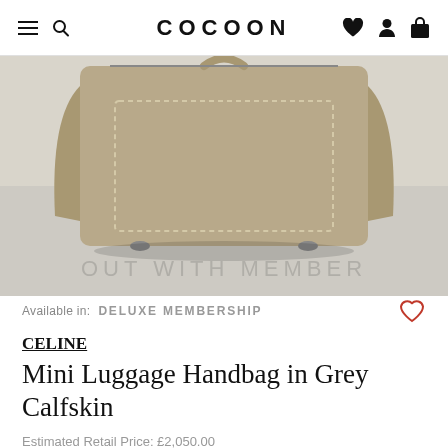COCOON
[Figure (photo): Bottom view of a beige/tan Celine Mini Luggage handbag on a light grey background, showing the bag's base, stitching detail, and handles. A grey overlay on the bottom half reads OUT WITH MEMBER.]
Available in:  DELUXE MEMBERSHIP
CELINE
Mini Luggage Handbag in Grey Calfskin
Estimated Retail Price: £2,050.00
3 MONTH